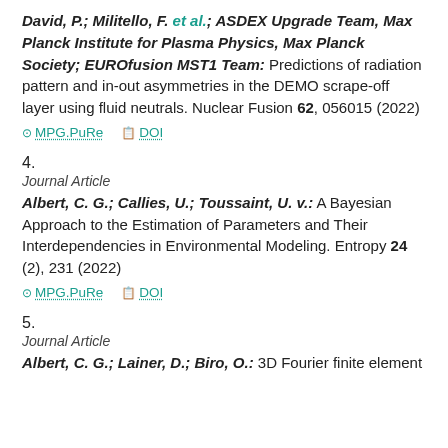David, P.; Militello, F. et al.; ASDEX Upgrade Team, Max Planck Institute for Plasma Physics, Max Planck Society; EUROfusion MST1 Team: Predictions of radiation pattern and in-out asymmetries in the DEMO scrape-off layer using fluid neutrals. Nuclear Fusion 62, 056015 (2022)
MPG.PuRe   DOI
4.
Journal Article
Albert, C. G.; Callies, U.; Toussaint, U. v.: A Bayesian Approach to the Estimation of Parameters and Their Interdependencies in Environmental Modeling. Entropy 24 (2), 231 (2022)
MPG.PuRe   DOI
5.
Journal Article
Albert, C. G.; Lainer, D.; Biro, O.: 3D Fourier finite element...